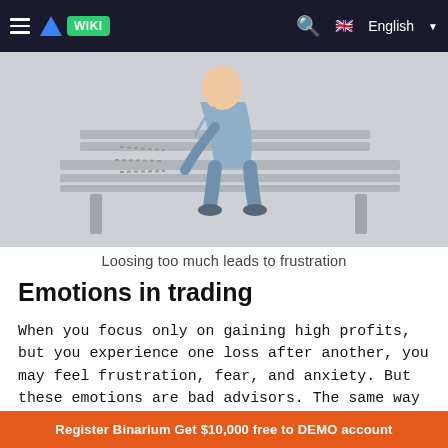WIKI  English
[Figure (illustration): Illustration of a person sitting on a bench, appearing frustrated or dejected, with motion lines suggesting movement or distress. Gray background.]
Loosing too much leads to frustration
Emotions in trading
When you focus only on gaining high profits, but you experience one loss after another, you may feel frustration, fear, and anxiety. But these emotions are bad advisors. The same way greed, overconfidence, stubbornness, or excitement will not do any good for your performance.
Register Binarium Get $10,000 free to DEMO account